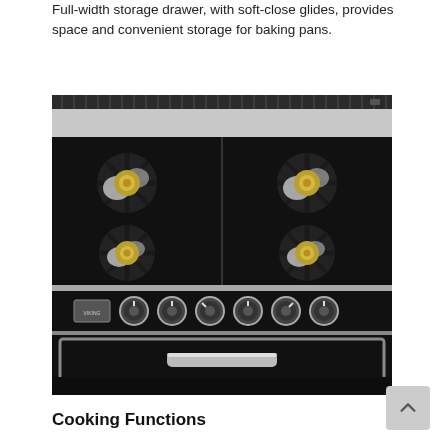Full-width storage drawer, with soft-close glides, provides space and convenient storage for baking pans.
[Figure (photo): A black professional gas range/stove with six burners on the cooktop (each with a star-shaped cast iron grate and brass burner cap), six chrome control knobs on the front panel, a manufacturer badge, and a large black oven door with a chrome bar handle. A stainless steel backsplash and a grill/griddle accessory are visible at the top.]
Cooking Functions